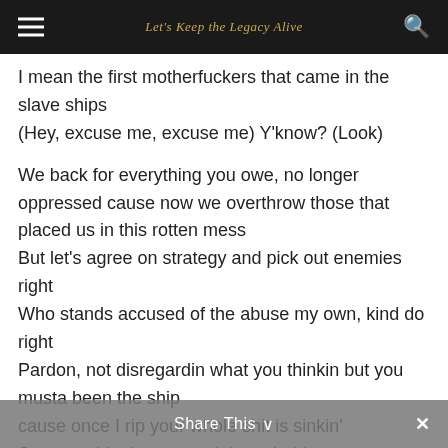Let's Keep the Legacy Alive
I mean the first motherfuckers that came in the slave ships
(Hey, excuse me, excuse me) Y'know? (Look)
We back for everything you owe, no longer oppressed cause now we overthrow those that placed us in this rotten mess
But let’s agree on strategy and pick out enemies right
Who stands accused of the abuse my own, kind do right
Pardon, not disregardin what you thinkin but you musta been the ship
cause once I rip your whole shit is sinkin’
Supreme ideology, you claim to hold
Claimin’ that we all drug dealers with empty souls
Share This